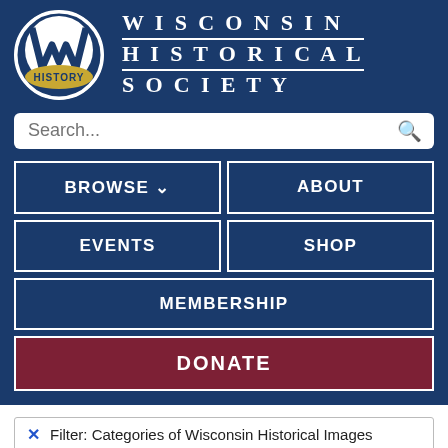[Figure (logo): Wisconsin Historical Society logo: circular emblem with a W on a baseball, with 'HISTORY' banner, and 'WISCONSIN HISTORICAL SOCIETY' text in large spaced serif capital letters to the right]
Search...
BROWSE ∨
ABOUT
EVENTS
SHOP
MEMBERSHIP
DONATE
✕  Filter: Categories of Wisconsin Historical Images
✕  Filter: Community of Loganville